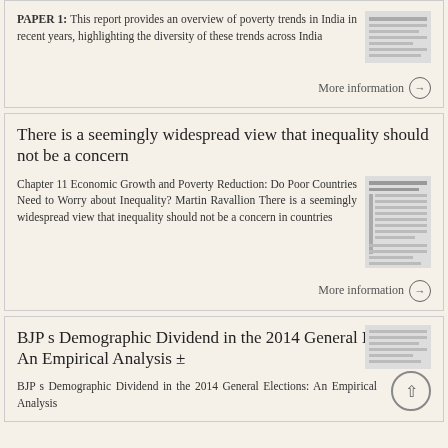PAPER 1: This report provides an overview of poverty trends in India in recent years, highlighting the diversity of these trends across India
More information →
There is a seemingly widespread view that inequality should not be a concern
Chapter 11 Economic Growth and Poverty Reduction: Do Poor Countries Need to Worry about Inequality? Martin Ravallion There is a seemingly widespread view that inequality should not be a concern in countries
More information →
BJP s Demographic Dividend in the 2014 General Elections: An Empirical Analysis ±
BJP s Demographic Dividend in the 2014 General Elections: An Empirical Analysis